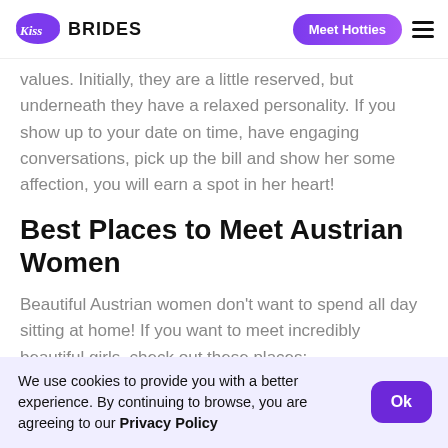Kiss Brides | Meet Hotties
values. Initially, they are a little reserved, but underneath they have a relaxed personality. If you show up to your date on time, have engaging conversations, pick up the bill and show her some affection, you will earn a spot in her heart!
Best Places to Meet Austrian Women
Beautiful Austrian women don't want to spend all day sitting at home! If you want to meet incredibly beautiful girls, check out these places:
We use cookies to provide you with a better experience. By continuing to browse, you are agreeing to our Privacy Policy